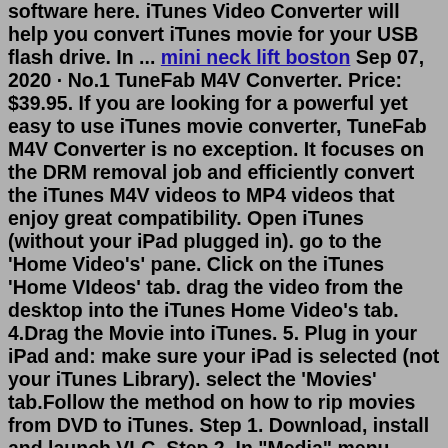software here. iTunes Video Converter will help you convert iTunes movie for your USB flash drive. In ... mini neck lift boston Sep 07, 2020 · No.1 TuneFab M4V Converter. Price: $39.95. If you are looking for a powerful yet easy to use iTunes movie converter, TuneFab M4V Converter is no exception. It focuses on the DRM removal job and efficiently convert the iTunes M4V videos to MP4 videos that enjoy great compatibility. Open iTunes (without your iPad plugged in). go to the 'Home Video's' pane. Click on the iTunes 'Home VIdeos' tab. drag the video from the desktop into the iTunes Home Video's tab. 4.Drag the Movie into iTunes. 5. Plug in your iPad and: make sure your iPad is selected (not your iTunes Library). select the 'Movies' tab.Follow the method on how to rip movies from DVD to iTunes. Step 1. Download, install and launch VLC. Step 2. In "Media" menu, select "Convert/Save." . Step 3. Click on the "Disc" tab, and choose the "DVD" option under Disc Selection. Step 4. Set the DVD drive location. Step 5. Then click "Convert/Save" option at the bottom of